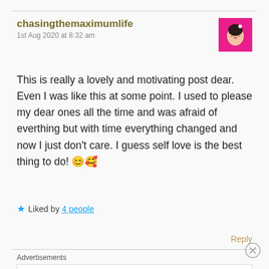chasingthemaximumlife
1st Aug 2020 at 8:32 am
[Figure (illustration): Avatar image of a cartoon woman with dark hair on a pink background]
This is really a lovely and motivating post dear. Even I was like this at some point. I used to please my dear ones all the time and was afraid of everthing but with time everything changed and now I just don't care. I guess self love is the best thing to do! 😊🥰
★ Liked by 4 people
Reply
Advertisements
AUTOMATTIC
Build a better web and a better world.